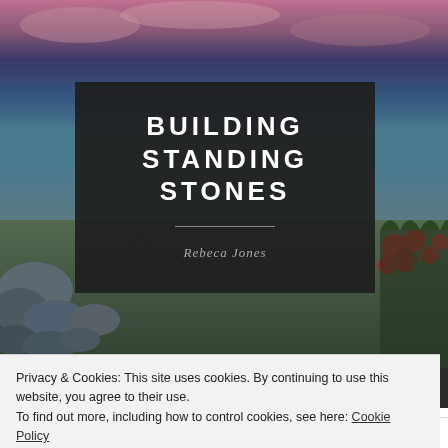[Figure (photo): A scenic photograph showing a rocky shoreline with vegetation, red flowers, and a dramatic sunset sky in the background, serving as the page hero image.]
BUILDING STANDING STONES
Rebeca Jones
Privacy & Cookies: This site uses cookies. By continuing to use this website, you agree to their use.
To find out more, including how to control cookies, see here: Cookie Policy
Close and accept